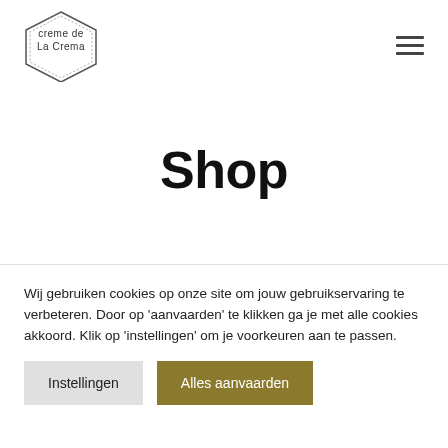[Figure (logo): Creme de la Crema hexagon logo with text inside a hexagonal border outline]
[Figure (other): Hamburger menu icon — three horizontal lines stacked]
Shop
Wij gebruiken cookies op onze site om jouw gebruikservaring te verbeteren. Door op 'aanvaarden' te klikken ga je met alle cookies akkoord. Klik op 'instellingen' om je voorkeuren aan te passen.
Instellingen
Alles aanvaarden